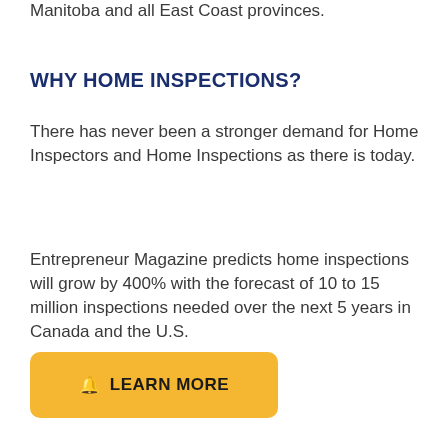Manitoba and all East Coast provinces.
WHY HOME INSPECTIONS?
There has never been a stronger demand for Home Inspectors and Home Inspections as there is today.
Entrepreneur Magazine predicts home inspections will grow by 400% with the forecast of 10 to 15 million inspections needed over the next 5 years in Canada and the U.S.
LEARN MORE